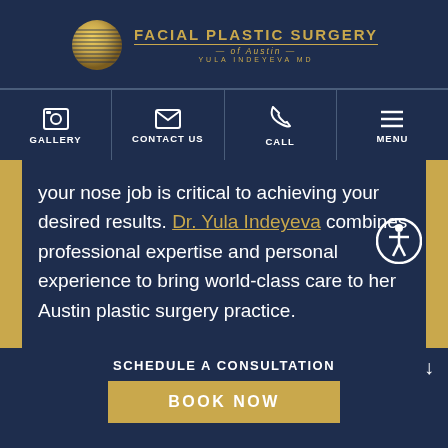[Figure (logo): Facial Plastic Surgery of Austin logo with golden globe/sphere icon and text 'FACIAL PLASTIC SURGERY of Austin YULA INDEYEVA MD']
GALLERY | CONTACT US | CALL | MENU
your nose job is critical to achieving your desired results. Dr. Yula Indeyeva combines professional expertise and personal experience to bring world-class care to her Austin plastic surgery practice.
SCHEDULE A CONSULTATION
BOOK NOW